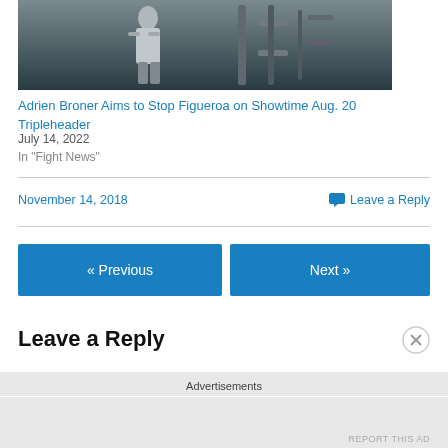[Figure (photo): Black and white photo of a boxer or athlete training with gym equipment]
Adrien Broner Aims to Stop Figueroa on Showtime Aug. 20 Tripleheader
July 14, 2022
In "Fight News"
November 14, 2018
Leave a Reply
« Previous
Next »
Leave a Reply
Advertisements